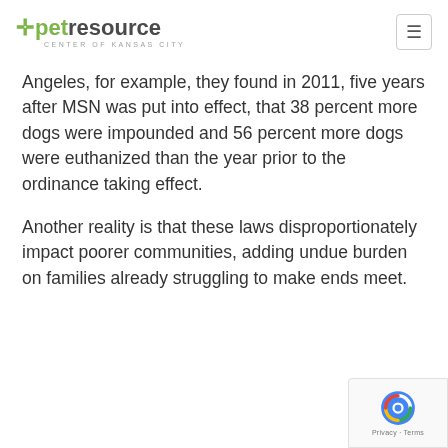petresource CENTER OF KANSAS CITY
Angeles, for example, they found in 2011, five years after MSN was put into effect, that 38 percent more dogs were impounded and 56 percent more dogs were euthanized than the year prior to the ordinance taking effect.
Another reality is that these laws disproportionately impact poorer communities, adding undue burden on families already struggling to make ends meet.